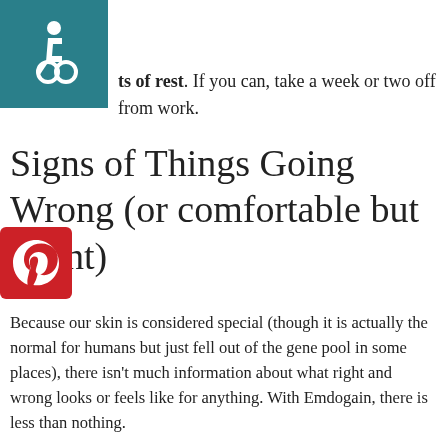[Figure (logo): Teal square with white wheelchair accessibility icon]
...ts of rest. If you can, take a week or two off from work.
[Figure (logo): Pinterest red square logo with white P icon]
Signs of Things Going Wrong (or comfortable but Right)
Because our skin is considered special (though it is actually the normal for humans but just fell out of the gene pool in some places), there isn't much information about what right and wrong looks or feels like for anything. With Emdogain, there is less than nothing.
A good time with Emdogain is going to involve a fair bit of pain, and things that feel wrong but are not. It should swell a bit. You should have some mild "strain" against the sutures (stitches). You should feel something like little lumpy spot under the skin of your gums. As long as you aren't bleeding profusely, leaking tissue or gel, or nothing bursts open, you are probably alright.
The mild strain of the stitches is so common that later, some of